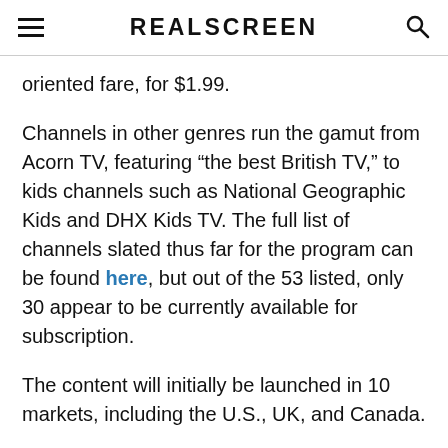REALSCREEN
oriented fare, for $1.99.
Channels in other genres run the gamut from Acorn TV, featuring “the best British TV,” to kids channels such as National Geographic Kids and DHX Kids TV. The full list of channels slated thus far for the program can be found here, but out of the 53 listed, only 30 appear to be currently available for subscription.
The content will initially be launched in 10 markets, including the U.S., UK, and Canada.
According to the blog post, “Once you